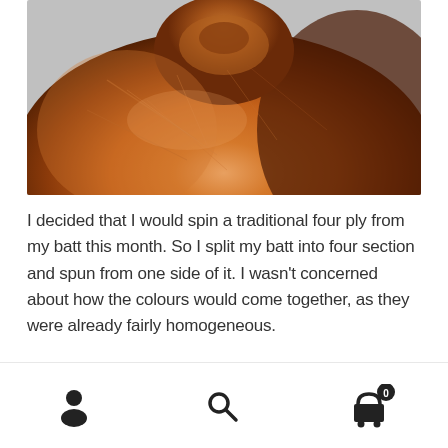[Figure (photo): Close-up photograph of orange-brown and dark brown wool fiber/batt arranged in a rounded mound shape, showing fibrous texture and color variation]
I decided that I would spin a traditional four ply from my batt this month. So I split my batt into four section and spun from one side of it. I wasn't concerned about how the colours would come together, as they were already fairly homogeneous.
[Figure (photo): Partial view of a green wooded/forest outdoor scene, partially cropped at the bottom of the page]
Navigation bar with user account icon, search icon, and shopping cart icon with badge showing 0